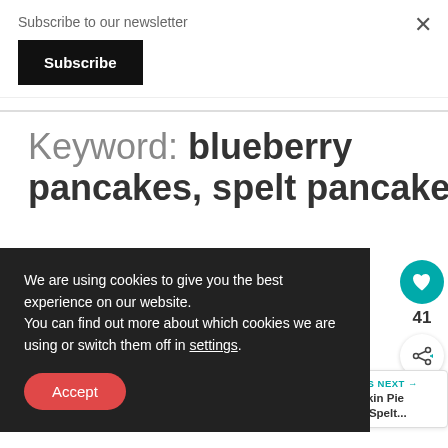Subscribe to our newsletter
Subscribe
×
Keyword: blueberry pancakes, spelt pancakes
We are using cookies to give you the best experience on our website.
You can find out more about which cookies we are using or switch them off in settings.
Accept
Author: Gunjan
41
WHAT'S NEXT → Pumpkin Pie Spice Spelt...